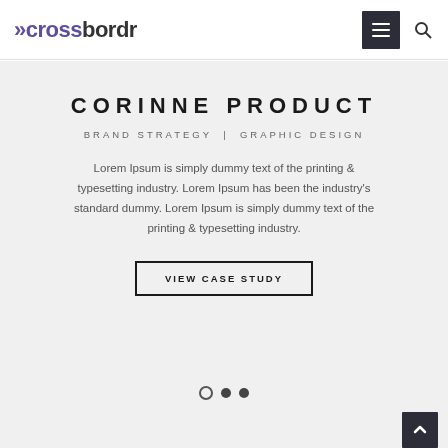[Figure (logo): crossbordr logo with double angle bracket arrows in purple and bold text in dark/purple]
CORINNE PRODUCT
BRAND STRATEGY | GRAPHIC DESIGN
Lorem Ipsum is simply dummy text of the printing & typesetting industry. Lorem Ipsum has been the industry's standard dummy. Lorem Ipsum is simply dummy text of the printing & typesetting industry.
VIEW CASE STUDY